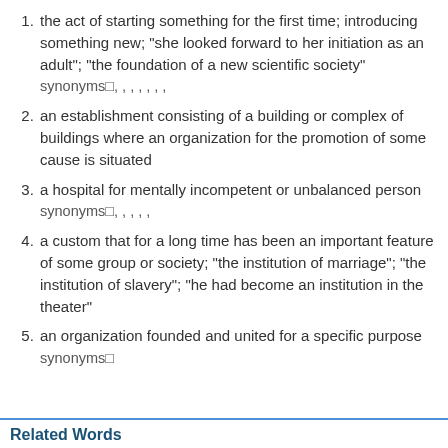the act of starting something for the first time; introducing something new; "she looked forward to her initiation as an adult"; "the foundation of a new scientific society" synonyms□, , , , , , ,
an establishment consisting of a building or complex of buildings where an organization for the promotion of some cause is situated
a hospital for mentally incompetent or unbalanced person synonyms□, , , , ,
a custom that for a long time has been an important feature of some group or society; "the institution of marriage"; "the institution of slavery"; "he had become an institution in the theater"
an organization founded and united for a specific purpose synonyms□
Related Words